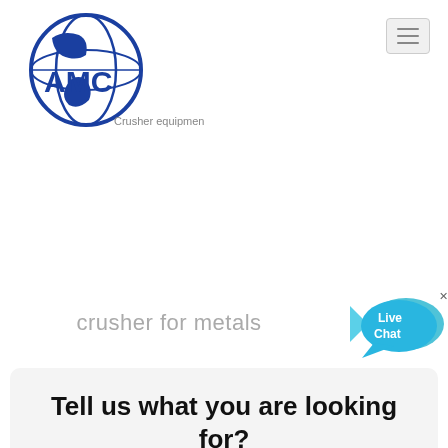[Figure (logo): AMC Crusher equipment logo — globe with AMC text and 'Crusher equipment' tagline, in blue]
crusher for metals
[Figure (illustration): Live Chat speech bubble button in cyan/blue]
Tell us what you are looking for?
Please fill in and submit the following form, our service team will contact you as soon as possible and provide a complete solution.
Name:
As: Tom